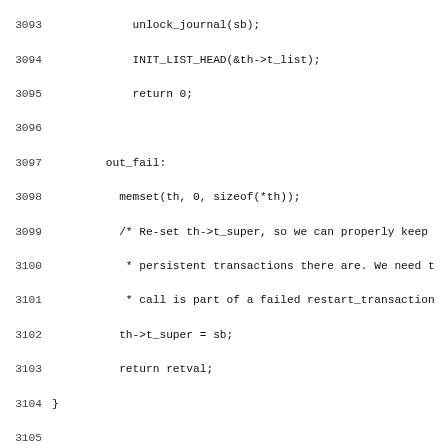[Figure (other): Source code listing (C language) showing lines 3093-3124 of a reiserfs filesystem transaction handling implementation, including unlock_journal, INIT_LIST_HEAD, out_fail label, memset, t_super assignment, reiserfs_persistent_transaction_handle function stub, and nested transaction handling logic.]